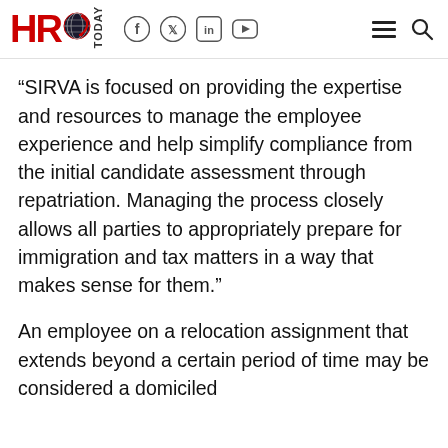HRO TODAY — social icons: Facebook, Twitter, LinkedIn, YouTube — hamburger menu, search
“SIRVA is focused on providing the expertise and resources to manage the employee experience and help simplify compliance from the initial candidate assessment through repatriation. Managing the process closely allows all parties to appropriately prepare for immigration and tax matters in a way that makes sense for them.”
An employee on a relocation assignment that extends beyond a certain period of time may be considered a domiciled